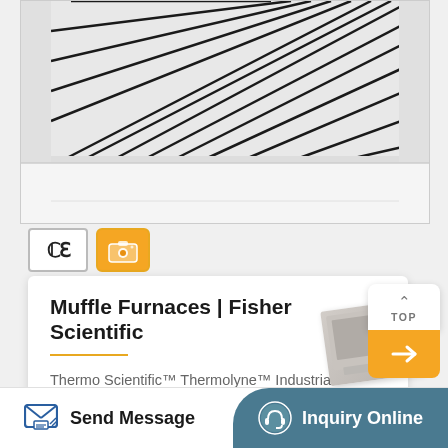[Figure (photo): Top-down view inside a muffle furnace showing heating elements as radiating black stripes on a white interior, with white ceramic base]
[Figure (logo): CE certification mark badge and a camera/photo badge icon in orange/gold]
Muffle Furnaces | Fisher Scientific
Thermo Scientific™ Thermolyne™ Industrial Benchtop Muffle Furnaces. Perform ultra-high temperature applications with this industrial benchtop muffle furnace, which reaches a maximum temperature of 1200°C....
[Figure (screenshot): TOP navigation button with upward caret and yellow arrow button below]
[Figure (photo): Small product image of muffle furnace in lower right corner]
Send Message
Inquiry Online